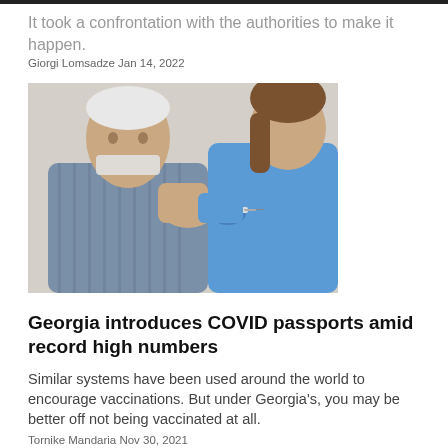It took a confrontation with the authorities to make it happen.
Giorgi Lomsadze Jan 14, 2022
[Figure (photo): An elderly man with a white surgical mask pulled down receives a vaccination injection in his upper arm from a female healthcare worker in blue scrubs and blue gloves.]
Georgia introduces COVID passports amid record high numbers
Similar systems have been used around the world to encourage vaccinations. But under Georgia's, you may be better off not being vaccinated at all.
Tornike Mandaria Nov 30, 2021